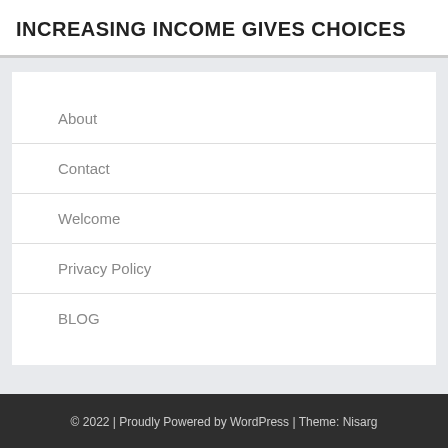INCREASING INCOME GIVES CHOICES
About
Contact
Welcome
Privacy Policy
BLOG
© 2022 | Proudly Powered by WordPress | Theme: Nisarg